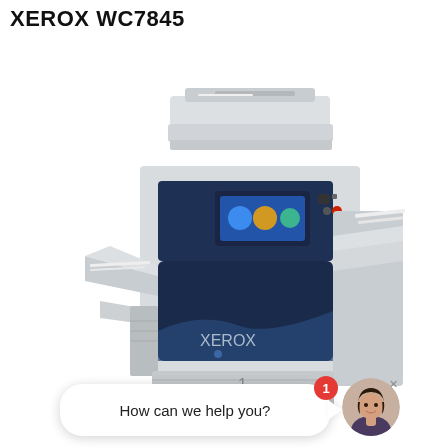XEROX WC7845
[Figure (photo): Xerox WorkCentre 7845 multifunction color printer/copier with document feeder on top, control panel with touchscreen, multiple paper trays, side paper output tray on left, and finisher module on right.]
How can we help you?